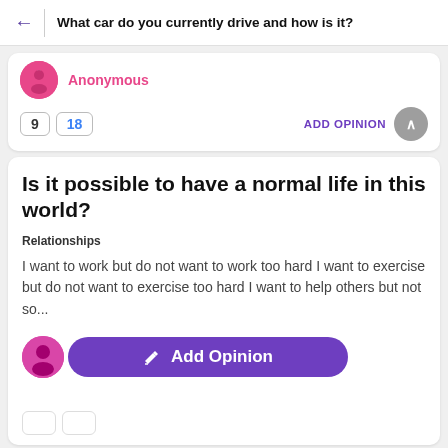What car do you currently drive and how is it?
Anonymous
9  18  ADD OPINION
Is it possible to have a normal life in this world?
Relationships
I want to work but do not want to work too hard I want to exercise but do not want to exercise too hard I want to help others but not so...
jennifer_b... Influenc...
Add Opinion